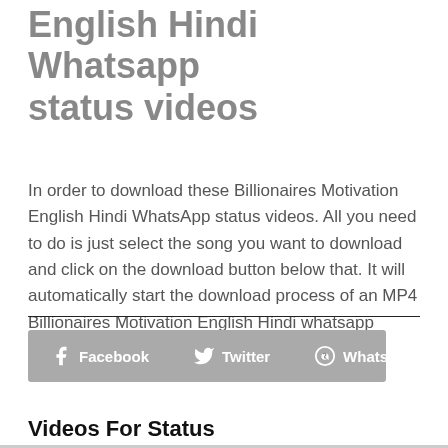English Hindi Whatsapp status videos
In order to download these Billionaires Motivation English Hindi WhatsApp status videos. All you need to do is just select the song you want to download and click on the download button below that. It will automatically start the download process of an MP4 Billionaires Motivation English Hindi whatsapp status video file for FREE.
[Figure (other): Social share buttons bar with Facebook, Twitter, and WhatsApp buttons]
Videos For Status